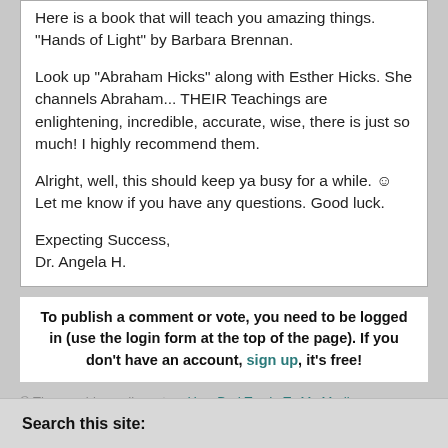Here is a book that will teach you amazing things. "Hands of Light" by Barbara Brennan.

Look up "Abraham Hicks" along with Esther Hicks. She channels Abraham... THEIR Teachings are enlightening, incredible, accurate, wise, there is just so much! I highly recommend them.

Alright, well, this should keep ya busy for a while. ☺ Let me know if you have any questions. Good luck.

Expecting Success,
Dr. Angela H.
To publish a comment or vote, you need to be logged in (use the login form at the top of the page). If you don't have an account, sign up, it's free!
© The psychic medium story How Do I Tap In To My Medium Experiences is copyrighted to Rhinestone54. Edited by psychic-experiences.com.
Search this site: